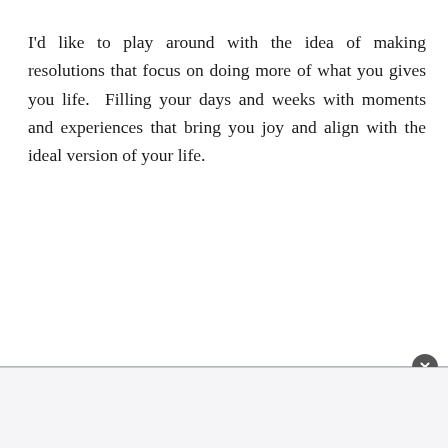I'd like to play around with the idea of making resolutions that focus on doing more of what you gives you life.  Filling your days and weeks with moments and experiences that bring you joy and align with the ideal version of your life.